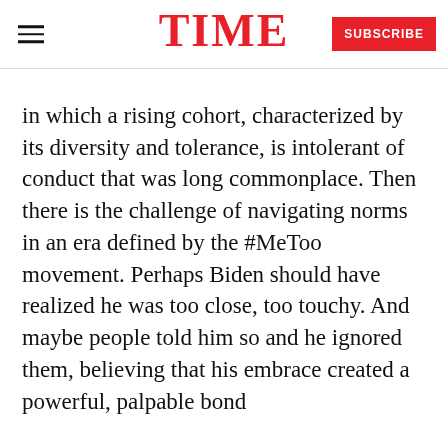TIME — SUBSCRIBE
in which a rising cohort, characterized by its diversity and tolerance, is intolerant of conduct that was long commonplace. Then there is the challenge of navigating norms in an era defined by the #MeToo movement. Perhaps Biden should have realized he was too close, too touchy. And maybe people told him so and he ignored them, believing that his embrace created a powerful, palpable bond
READ NEXT
[Figure (photo): Photo of Biden with a woman at a podium]
Biden's Crisis